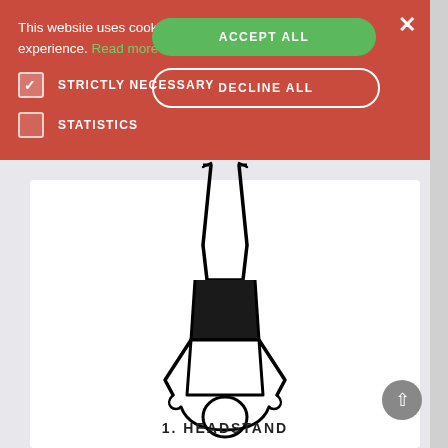[Figure (illustration): A yoga figure performing a headstand pose, shown upside down with legs extended upward, arms supporting the head on the ground. Black and white line art style. Below the figure is the text '1. HEADSTAND'.]
This website uses cookies to improve user experience. Read more
STRICTLY NECESSARY
STATISTICS
ACCEPT ALL
DECLINE ALL
1. HEADSTAND